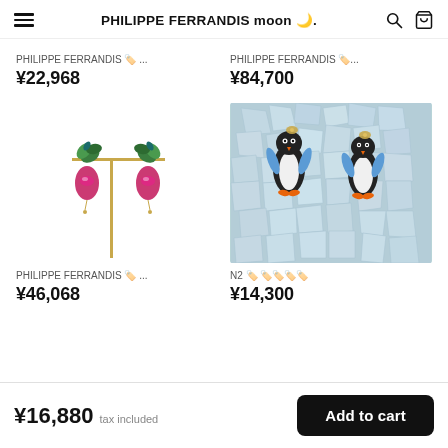PHILIPPE FERRANDIS moon 🌙.. (search) (cart)
PHILIPPE FERRANDIS 🏷️ ...
¥22,968
PHILIPPE FERRANDIS 🏷️...
¥84,700
[Figure (photo): Green leaf and pink crystal drop earrings displayed on a gold T-bar stand against white background]
PHILIPPE FERRANDIS 🏷️ ...
¥46,068
[Figure (photo): Two penguin-shaped earrings with blue and orange accents displayed on ice cubes background]
N2 🏷️ 🏷️🏷️🏷️🏷️
¥14,300
¥16,880 tax included
Add to cart